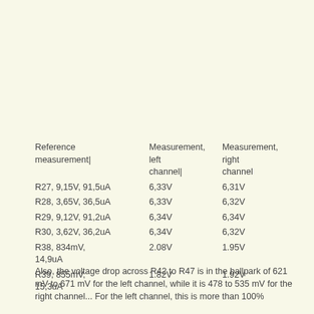| Reference measurement| | Measurement, left channel| | Measurement, right channel |
| --- | --- | --- |
| R27, 9,15V, 91,5uA | 6,33V | 6,31V |
| R28, 3,65V, 36,5uA | 6,33V | 6,32V |
| R29, 9,12V, 91,2uA | 6,34V | 6,34V |
| R30, 3,62V, 36,2uA | 6,34V | 6,32V |
| R38, 834mV, 14,9uA | 2.08V | 1.95V |
| R39, 855mV, 15,3uA | 1.82V | 1.92V |
Also, the voltage drop across R42 to R47 is in the ballpark of 621 mV to 671 mV for the left channel, while it is 478 to 535 mV for the right channel... For the left channel, this is more than 100%